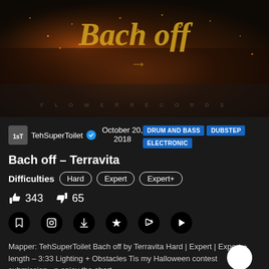[Figure (photo): Dark fantasy/action album artwork showing 'Bach Off' in gold cursive script over dark atmospheric battle scene with fire and sparks. 'FLOWER RECORDS' text at the bottom.]
TehSuperToilet
October 20, 2018
DRUM AND BASS
DUBSTEP
ELECTRONIC
Bach off – Terravita
Difficulties  Hard  Expert  Expert+
343  65
Mapper: TehSuperToilet Bach off by Terravita Hard | Expert | Expert + length – 3:33 Lighting + Obstacles Tis my Halloween contest submission =p enjoy the chart